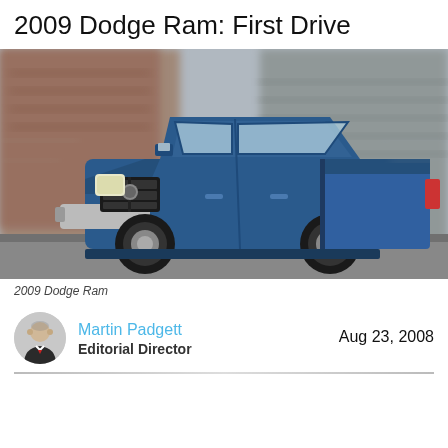2009 Dodge Ram: First Drive
[Figure (photo): Blue 2009 Dodge Ram pickup truck driving on a street with blurred background showing buildings]
2009 Dodge Ram
Martin Padgett
Editorial Director
Aug 23, 2008